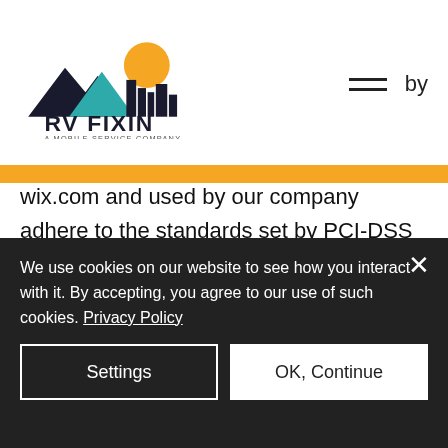[Figure (logo): RV Fixin - A Mobile Service Company logo with cityscape/mountains silhouette and orange sun]
wix.com and used by our company adhere to the standards set by PCI-DSS as managed by the PCI Security Standards Council, which is a joint effort of brands like Visa, MasterCard, American Express, and Discover. PCI-DSS requirements help ensure the secure handling of credit card information by our
We use cookies on our website to see how you interact with it. By accepting, you agree to our use of such cookies. Privacy Policy
Settings
OK, Continue